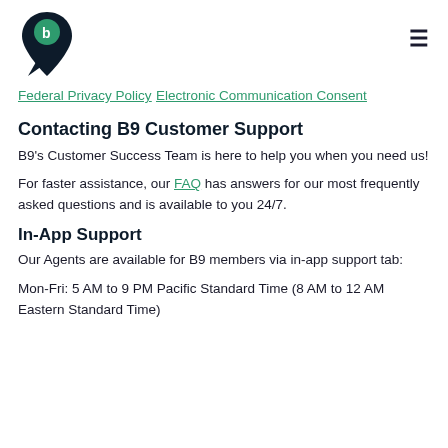[Figure (logo): B9 logo: dark navy pin/location marker shape with a green circle containing letter b at top]
Federal Privacy Policy
Electronic Communication Consent
Contacting B9 Customer Support
B9's Customer Success Team is here to help you when you need us!
For faster assistance, our FAQ has answers for our most frequently asked questions and is available to you 24/7.
In-App Support
Our Agents are available for B9 members via in-app support tab:
Mon-Fri: 5 AM to 9 PM Pacific Standard Time (8 AM to 12 AM Eastern Standard Time)